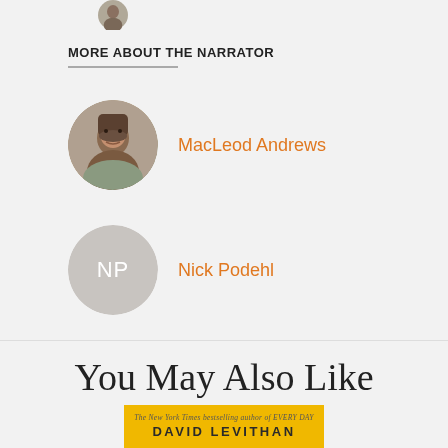MORE ABOUT THE NARRATOR
MacLeod Andrews
Nick Podehl
You May Also Like
[Figure (photo): Book cover of 'Answers' by David Levithan on a yellow background with three turtles]